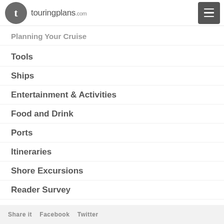touringplans.com
Planning Your Cruise
Tools
Ships
Entertainment & Activities
Food and Drink
Ports
Itineraries
Shore Excursions
Reader Survey
Share it   Facebook   Twitter